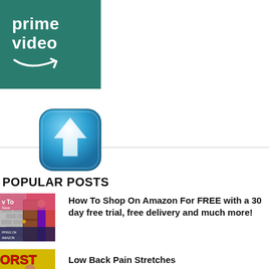[Figure (logo): Amazon Prime Video logo — teal/green square background with white bold text 'prime video' and Amazon smile/arrow graphic below]
[Figure (illustration): Blue rounded-square app icon with a white upward-pointing arrow/upload symbol in center]
POPULAR POSTS
[Figure (photo): Thumbnail image for Amazon shopping post — shows person standing next to a door with text overlay 'How To Save' and 'Shopping on Amazon']
How To Shop On Amazon For FREE with a 30 day free trial, free delivery and much more!
[Figure (photo): Thumbnail image for Low Back Pain Stretches post — shows person exercising with colorful text overlay including 'ORST' and 'BA']
Low Back Pain Stretches